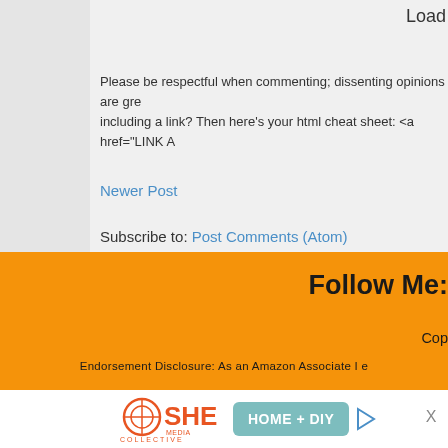Load
Please be respectful when commenting; dissenting opinions are gre including a link? Then here's your html cheat sheet: <a href="LINK A
Newer Post
Subscribe to: Post Comments (Atom)
Follow Me:
Cop
Endorsement Disclosure: As an Amazon Associate I e
[Figure (logo): SHE Media Collective logo with HOME + DIY badge and play button]
Learn More | Privacy